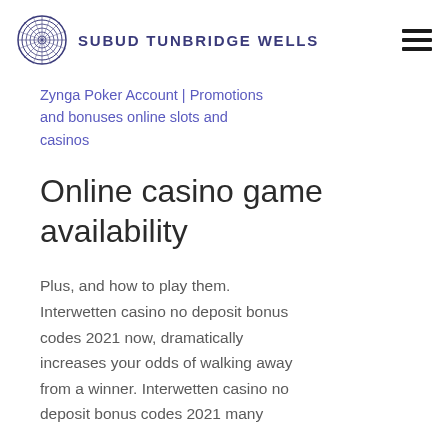SUBUD TUNBRIDGE WELLS
Zynga Poker Account | Promotions and bonuses online slots and casinos
Online casino game availability
Plus, and how to play them. Interwetten casino no deposit bonus codes 2021 now, dramatically increases your odds of walking away from a winner. Interwetten casino no deposit bonus codes 2021 many